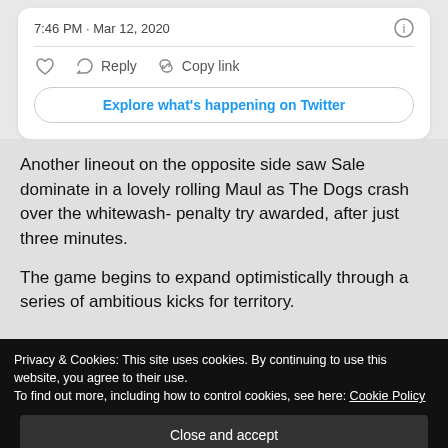7:46 PM · Mar 12, 2020
Reply   Copy link
Explore what's happening on Twitter
Another lineout on the opposite side saw Sale dominate in a lovely rolling Maul as The Dogs crash over the whitewash- penalty try awarded, after just three minutes.
The game begins to expand optimistically through a series of ambitious kicks for territory.
Privacy & Cookies: This site uses cookies. By continuing to use this website, you agree to their use.
To find out more, including how to control cookies, see here: Cookie Policy
Close and accept
before the kick off and both sides are